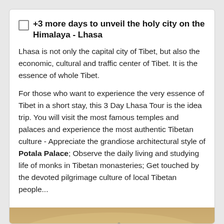+3 more days to unveil the holy city on the Himalaya - Lhasa
Lhasa is not only the capital city of Tibet, but also the economic, cultural and traffic center of Tibet. It is the essence of whole Tibet.
For those who want to experience the very essence of Tibet in a short stay, this 3 Day Lhasa Tour is the idea trip. You will visit the most famous temples and palaces and experience the most authentic Tibetan culture - Appreciate the grandiose architectural style of Potala Palace; Observe the daily living and studying life of monks in Tibetan monasteries; Get touched by the devoted pilgrimage culture of local Tibetan people...
[Figure (photo): Photo of Potala Palace in Lhasa, Tibet, with mountains in the background at golden hour. Two UI buttons overlay the right side: a salmon/orange 'Contact' button and an up-arrow button.]